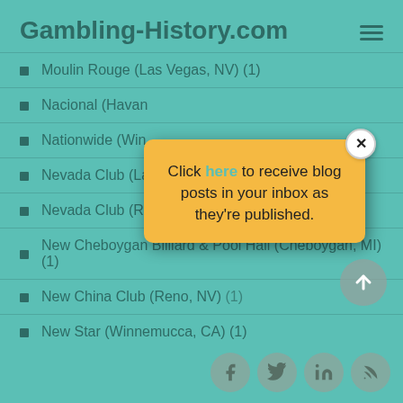Gambling-History.com
Moulin Rouge (Las Vegas, NV) (1)
Nacional (Havana, Cuba) (1)
Nationwide (Winnemucca, NV) (1)
Nevada Club (Las Vegas, NV) (1)
Nevada Club (Reno, NV) (3)
New Cheboygan Billiard & Pool Hall (Cheboygan, MI) (1)
New China Club (Reno, NV) (1)
New Star (Winnemucca, CA) (1)
[Figure (infographic): Popup dialog with yellow background. Text reads: Click here to receive blog posts in your inbox as they're published. Has a close X button.]